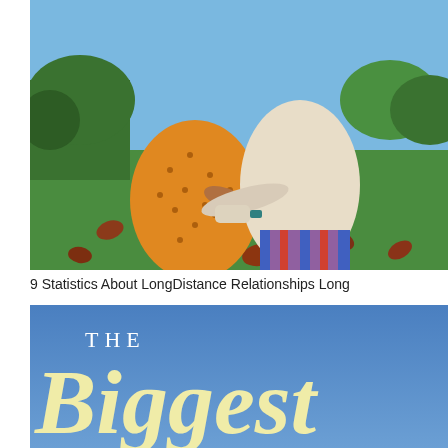[Figure (photo): Two people sitting on green grass with autumn leaves scattered around. One person wearing an orange/yellow polka-dot dress, the other wearing a cream/beige sweater and striped pants. They are sitting back-to-back with arms linked, outdoors.]
9 Statistics About LongDistance Relationships Long
[Figure (photo): Blue sky background image with white text 'THE' at top left and large yellow cursive/italic text 'Biggest' below it, partially cropped.]